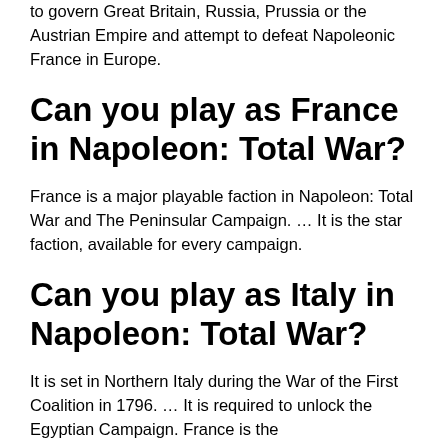to govern Great Britain, Russia, Prussia or the Austrian Empire and attempt to defeat Napoleonic France in Europe.
Can you play as France in Napoleon: Total War?
France is a major playable faction in Napoleon: Total War and The Peninsular Campaign. … It is the star faction, available for every campaign.
Can you play as Italy in Napoleon: Total War?
It is set in Northern Italy during the War of the First Coalition in 1796. … It is required to unlock the Egyptian Campaign. France is the